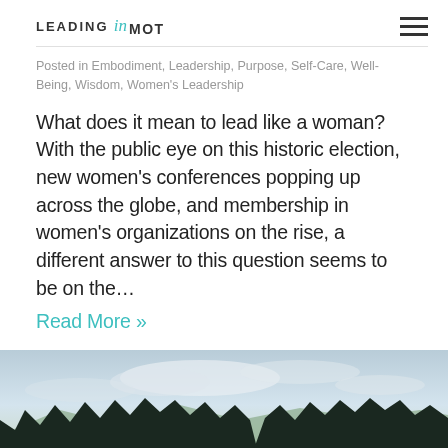LEADING in MOTION
Posted in Embodiment, Leadership, Purpose, Self-Care, Well-Being, Wisdom, Women's Leadership
What does it mean to lead like a woman? With the public eye on this historic election, new women's conferences popping up across the globe, and membership in women's organizations on the rise, a different answer to this question seems to be on the… Read More »
[Figure (photo): Woman with long brown hair sitting in a canoe on a calm turquoise lake, viewed from behind, holding a paddle, with dense dark evergreen forest and mountains in the background under a cloudy sky at dusk.]